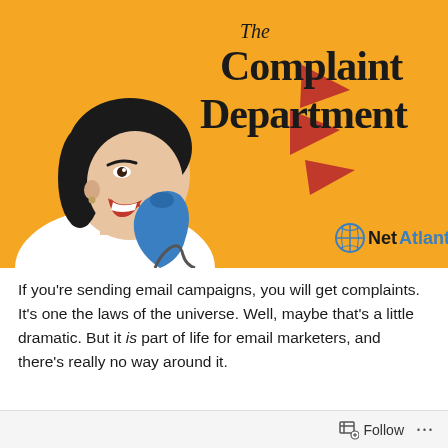[Figure (illustration): Retro pop-art illustration of a woman talking on a blue telephone against an orange/yellow background. Text reads 'The Complaint Department' in bold black script. Red arrow shapes radiate from the phone. Net Atlantic logo with globe icon in bottom right.]
If you’re sending email campaigns, you will get complaints. It’s one the laws of the universe. Well, maybe that’s a little dramatic. But it is part of life for email marketers, and there’s really no way around it.
Follow ...